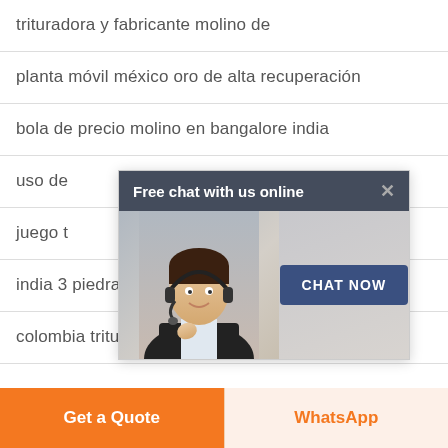trituradora y fabricante molino de
planta móvil méxico oro de alta recuperación
bola de precio molino en bangalore india
uso de
juego t
[Figure (screenshot): Chat popup overlay with header 'Free chat with us online', a photo of a customer service representative wearing a headset, and a 'CHAT NOW' button.]
india 3 piedra de molino en húmedo india
colombia trituradora de piedra y equipo
Get a Quote
WhatsApp